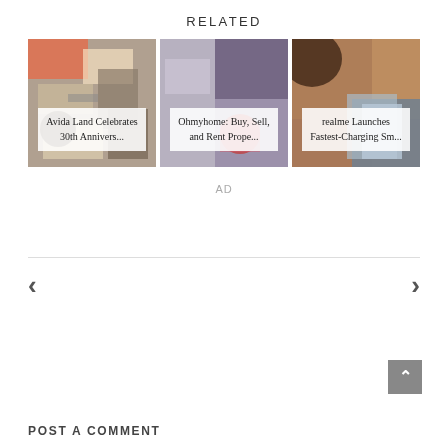RELATED
[Figure (photo): Three related article cards with overlaid titles: 'Avida Land Celebrates 30th Annivers...', 'Ohmyhome: Buy, Sell, and Rent Prope...', 'realme Launches Fastest-Charging Sm...']
AD
‹
›
POST A COMMENT